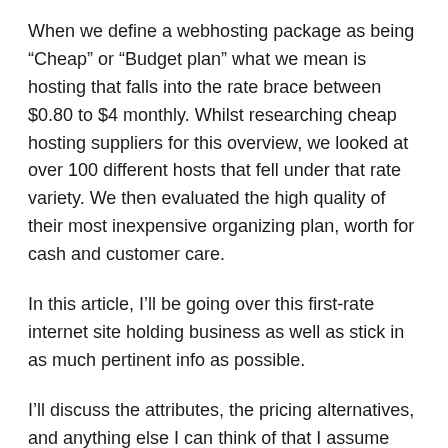When we define a webhosting package as being “Cheap” or “Budget plan” what we mean is hosting that falls into the rate brace between $0.80 to $4 monthly. Whilst researching cheap hosting suppliers for this overview, we looked at over 100 different hosts that fell under that rate variety. We then evaluated the high quality of their most inexpensive organizing plan, worth for cash and customer care.
In this article, I’ll be going over this first-rate internet site holding business as well as stick in as much pertinent info as possible.
I’ll discuss the attributes, the pricing alternatives, and anything else I can think of that I assume could be of advantage, if you’re deciding to join to Bluhost and get your web sites up and running.
So without more trouble, let’s check it out.